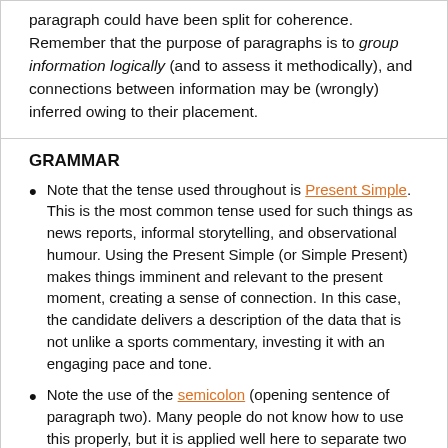paragraph could have been split for coherence. Remember that the purpose of paragraphs is to group information logically (and to assess it methodically), and connections between information may be (wrongly) inferred owing to their placement.
GRAMMAR
Note that the tense used throughout is Present Simple. This is the most common tense used for such things as news reports, informal storytelling, and observational humour. Using the Present Simple (or Simple Present) makes things imminent and relevant to the present moment, creating a sense of connection. In this case, the candidate delivers a description of the data that is not unlike a sports commentary, investing it with an engaging pace and tone.
Note the use of the semicolon (opening sentence of paragraph two). Many people do not know how to use this properly, but it is applied well here to separate two large chunks of information while maintaining the flow of